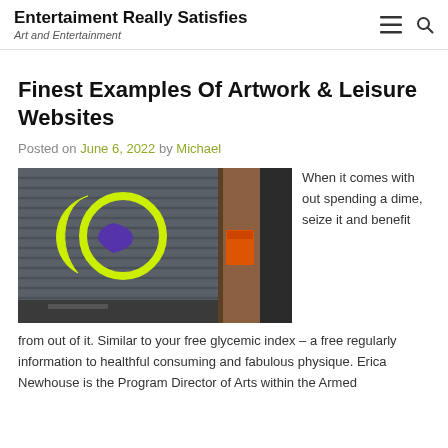Entertaiment Really Satisfies
Art and Entertainment
Finest Examples Of Artwork & Leisure Websites
Posted on June 6, 2022 by Michael
[Figure (photo): Street art on a metal shutter showing a yellow crescent/circle shape with a purple bird-like figure inside, next to an open doorway with orange signage.]
When it comes with out spending a dime, seize it and benefit from out of it. Similar to your free glycemic index – a free regularly information to healthful consuming and fabulous physique. Erica Newhouse is the Program Director of Arts within the Armed